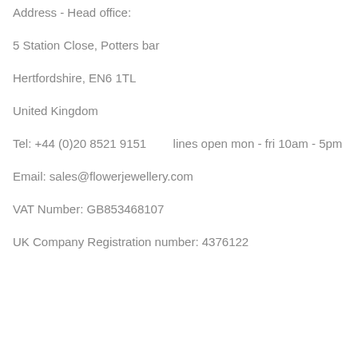Address - Head office:
5 Station Close, Potters bar
Hertfordshire, EN6 1TL
United Kingdom
Tel: +44 (0)20 8521 9151        lines open mon - fri 10am - 5pm
Email: sales@flowerjewellery.com
VAT Number: GB853468107
UK Company Registration number: 4376122